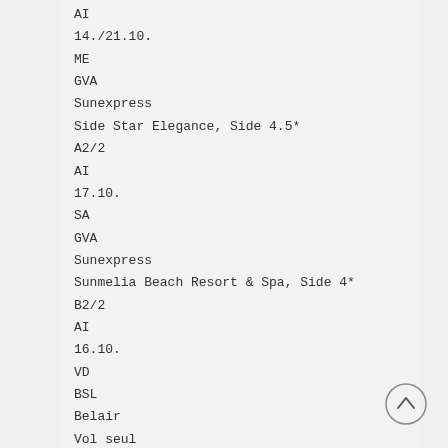AI
14./21.10.
ME
GVA
Sunexpress
Side Star Elegance, Side 4.5*
A2/2
AI
17.10.
SA
GVA
Sunexpress
Sunmelia Beach Resort & Spa, Side 4*
B2/2
AI
16.10.
VD
BSL
Belair
Vol seul
16.10.
VD
BSL
Belair
Vol seul (truncated)